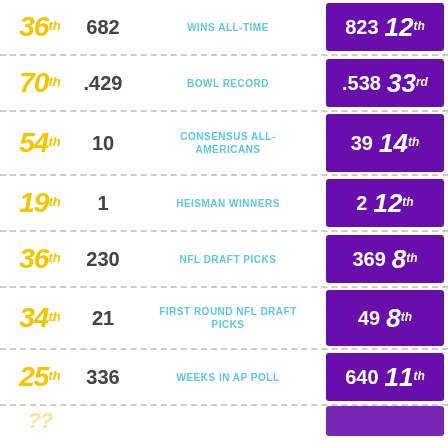| Rank (Left) | Value (Left) | Category | Value (Right) | Rank (Right) |
| --- | --- | --- | --- | --- |
| 36th | 682 | WINS ALL-TIME | 823 | 12th |
| 70th | .429 | BOWL RECORD | .538 | 33rd |
| 54th | 10 | CONSENSUS ALL-AMERICANS | 39 | 14th |
| 19th | 1 | HEISMAN WINNERS | 2 | 12th |
| 36th | 230 | NFL DRAFT PICKS | 369 | 8th |
| 34th | 21 | FIRST ROUND NFL DRAFT PICKS | 49 | 8th |
| 25th | 336 | WEEKS IN AP POLL | 640 | 11th |